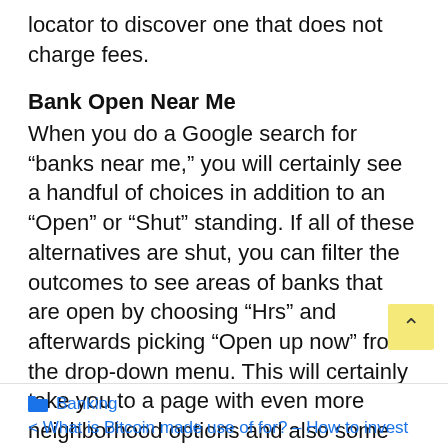locator to discover one that does not charge fees.
Bank Open Near Me
When you do a Google search for “banks near me,” you will certainly see a handful of choices in addition to an “Open” or “Shut” standing. If all of these alternatives are shut, you can filter the outcomes to see areas of banks that are open by choosing “Hrs” and afterwards picking “Open up now” from the drop-down menu. This will certainly take you to a page with even more neighborhood options and also some that are a brief distance away.
Banking
< What is Bitcoin made use of for? – How to invest